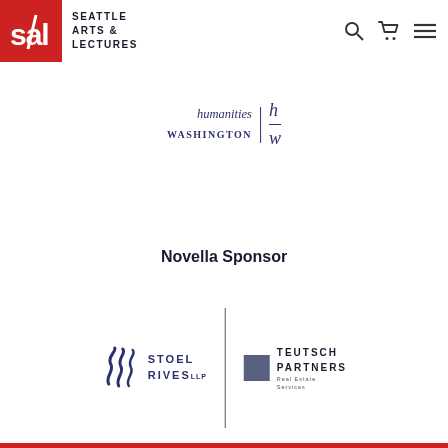[Figure (logo): Seattle Arts & Lectures (SAL) logo — red square with white 'sal' text, followed by bold uppercase 'SEATTLE ARTS & LECTURES' text, with search, cart, and menu icons on the right]
[Figure (logo): Humanities Washington logo — italic serif 'humanities WASHINGTON' text with 'h w' initials separated by vertical divider]
Novella Sponsor
[Figure (logo): Stoel Rives LLP and Teutsch Partners logos side by side, separated by a vertical line. Stoel Rives has a stylized wave icon. Teutsch Partners has a dark blue square icon.]